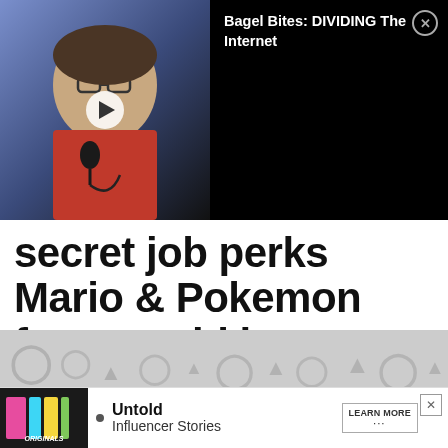[Figure (screenshot): Video overlay showing a man with glasses speaking into a microphone, with a black panel to the right displaying video title 'Bagel Bites: DIVIDING The Internet' and a close button]
secret job perks Mario & Pokemon fans would love
Ryan Lemay . Last updated: Aug 19, 2022
NINTENDO
[Figure (screenshot): Bottom portion showing a gray patterned background (Nintendo-style icons) with an advertisement bar featuring 'Originals' logo, bullet point, 'Untold Influencer Stories' text, and 'LEARN MORE' button]